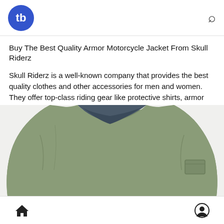tb [logo] | [search icon]
Buy The Best Quality Armor Motorcycle Jacket From Skull Riderz
Skull Riderz is a well-known company that provides the best quality clothes and other accessories for men and women. They offer top-class riding gear like protective shirts, armor motorcycle jackets, hoodies, vests and other accessories. Their team is dedicated to providing top quality products that are light in weight and delivering products in a timely manner.
For more details, visit:-
https://skullriderz.com/collec....tions/protective-jac
[Figure (photo): A close-up photo of an olive/army green bomber motorcycle jacket with a zipper front and a small pocket on the sleeve, shown against a white background.]
[home icon] [user/account icon]